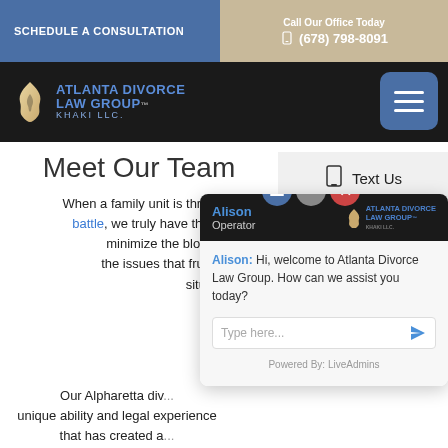SCHEDULE A CONSULTATION
Call Our Office Today (678) 798-8091
[Figure (logo): Atlanta Divorce Law Group Khaki LLC logo with flame icon]
Meet Our Team
Text Us
When a family unit is threatened by divorce or a custody battle, we truly have the expertise to step in and help minimize the blo... mundane, day-to-da... the issues that fru... through this emotion... situations a...
[Figure (screenshot): Live chat overlay showing Alison, Operator at Atlanta Divorce Law Group saying: Hi, welcome to Atlanta Divorce Law Group. How can we assist you today? With type here input and Powered By: LiveAdmins footer.]
Our Alpharetta div... unique ability and legal experience that has created a...